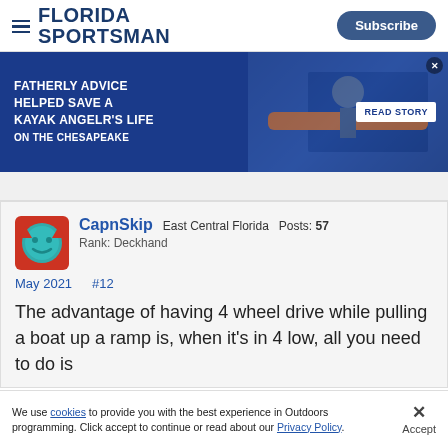FLORIDA SPORTSMAN | Subscribe
[Figure (infographic): Advertisement banner: 'FATHERLY ADVICE HELPED SAVE A KAYAK ANGELR'S LIFE ON THE CHESAPEAKE' with READ STORY button and image of person with kayak]
CapnSkip  East Central Florida  Posts: 57  Rank: Deckhand  May 2021  #12  The advantage of having 4 wheel drive while pulling a boat up a ramp is, when it's in 4 low, all you need to do is
We use cookies to provide you with the best experience in Outdoors programming. Click accept to continue or read about our Privacy Policy.